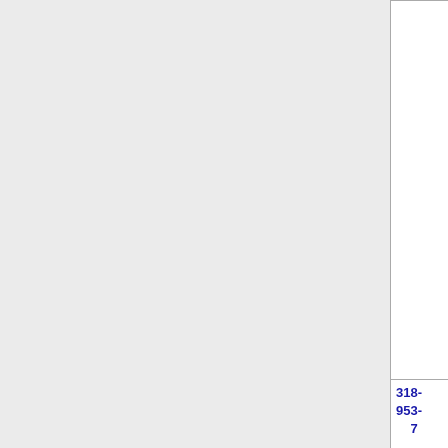| Phone | State | Company | Code | City |
| --- | --- | --- | --- | --- |
|  |  | (Wireless) |  | MONRO... |
| 318-953-7 | LA | CELLCO PARTNERSHIP DBA VERIZON (Verizon Wireless) | 6505 | MONRO... |
| 318-953- | LA | CELLCO PARTNERSHIP | 6505 | MONRO... |